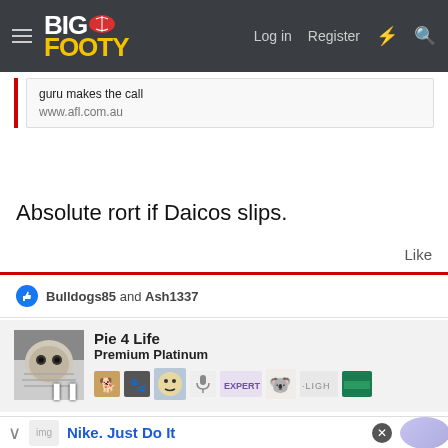BigFooty — Log in  Register
guru makes the call
www.afl.com.au
Absolute rort if Daicos slips.
Like
Bulldogs85 and Ash1337
Pie 4 Life
Premium Platinum
Nike. Just Do It